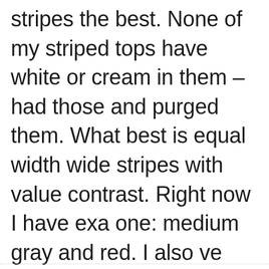stripes the best. None of my striped tops have white or cream in them – had those and purged them. What best is equal width wide stripes with value contrast. Right now I have exa one: medium gray and red. I also ve much like blue and green but haven found one to replace one I had.
June 9, 2020 at 5:18 am